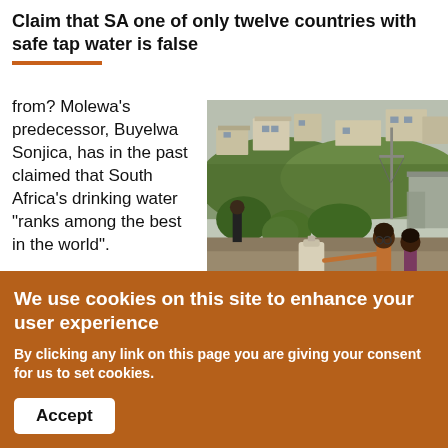Claim that SA one of only twelve countries with safe tap water is false
from? Molewa's predecessor, Buyelwa Sonjica, has in the past claimed that South Africa's drinking water "ranks among the best in the world".
[Figure (photo): Outdoor scene with children carrying a water jug, green vegetation and informal settlement buildings in background]
We use cookies on this site to enhance your user experience
By clicking any link on this page you are giving your consent for us to set cookies.
Accept